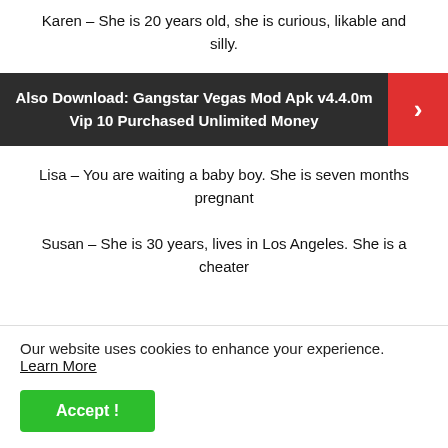Karen - She is 20 years old, she is curious, likable and silly.
[Figure (infographic): Dark banner with white bold text: 'Also Download: Gangstar Vegas Mod Apk v4.4.0m Vip 10 Purchased Unlimited Money' and a red arrow button on the right.]
Lisa - You are waiting a baby boy. She is seven months pregnant
Susan - She is 30 years, lives in Los Angeles. She is a cheater
Our website uses cookies to enhance your experience. Learn More
Accept !